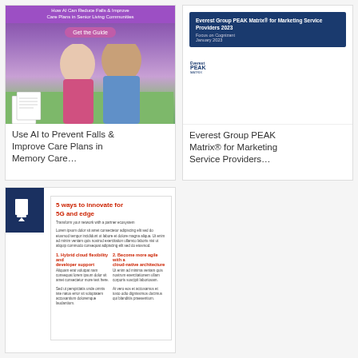[Figure (illustration): Card 1: Document cover showing two smiling seniors (Black man in blue, older white-haired woman in pink) outdoors with trees. Purple banner at top reads 'How AI Can Reduce Falls & Improve Care Plans in Senior Living Communities' with pink 'Get the Guide' button. Document pages visible at bottom left.]
Use AI to Prevent Falls & Improve Care Plans in Memory Care…
[Figure (illustration): Card 2: Document cover showing Everest Group PEAK Matrix for Marketing Service Providers 2023 report. Dark blue header band with white text, white body area below, PEAK Matrix logo at bottom left.]
Everest Group PEAK Matrix® for Marketing Service Providers…
[Figure (illustration): Card 3: Red Hat document titled '5 ways to innovate for 5G and edge'. Dark blue download badge (with download arrow icon) at top-left corner. White document interior shows red title text and body copy with sections including 'Hybrid cloud flexibility and developer support' and 'Become more agile with a cloud-native architecture'.]